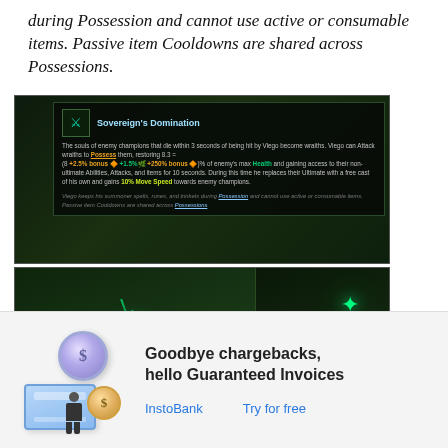during Possession and cannot use active or consumable items. Passive item Cooldowns are shared across Possessions.
[Figure (screenshot): Game UI tooltip for 'Sovereign's Domination' ability in League of Legends, showing Viego's passive ability description with stats and flavor text about Possession mechanics.]
[Figure (screenshot): Gameplay screenshot from League of Legends showing Viego's Possession ability in action with green glowing effects and game HUD at the bottom.]
Blade
No C... 5/4.5
[Figure (illustration): InstoBank advertisement illustration showing a person with a credit card and coin graphic. Headline: 'Goodbye chargebacks, hello Guaranteed Invoices'. Links: InstoBank and Try for free.]